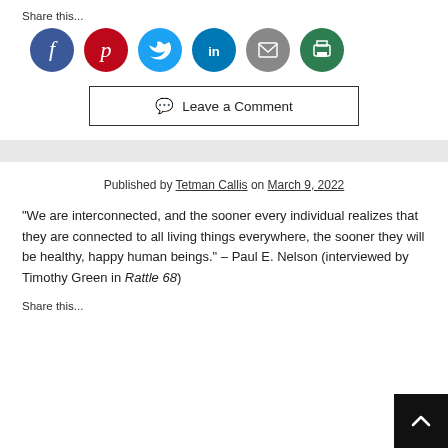Share this...
[Figure (infographic): Six social sharing icons in circles: Facebook (blue), Pinterest (red), Twitter (light blue), LinkedIn (dark blue), Email (gray), Print (green)]
💬 Leave a Comment
Published by Tetman Callis on March 9, 2022
"We are interconnected, and the sooner every individual realizes that they are connected to all living things everywhere, the sooner they will be healthy, happy human beings." – Paul E. Nelson (interviewed by Timothy Green in Rattle 68)
Share this...